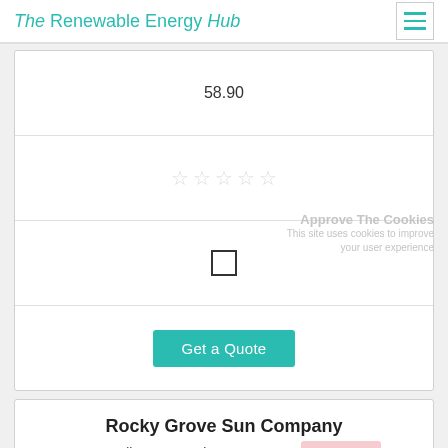The Renewable Energy Hub
58.90
[Figure (other): Five empty/unfilled star rating icons in a row]
[Figure (other): Empty checkbox square]
Get a Quote
Approve The Cookies
This site uses cookies to improve your user experience
Rocky Grove Sun Company
3299 Madison 3605,Kingston, 72742